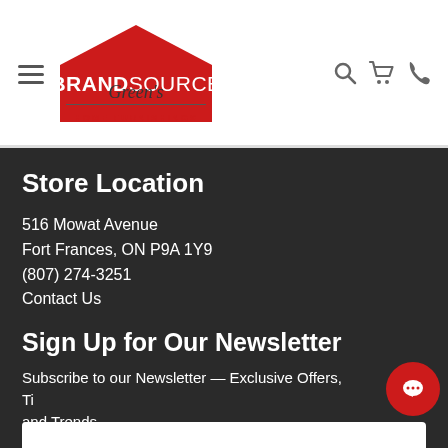[Figure (logo): BrandSource Green's Home Furnishings logo with red house shape and script text]
Store Location
516 Mowat Avenue
Fort Frances, ON P9A 1Y9
(807) 274-3251
Contact Us
Sign Up for Our Newsletter
Subscribe to our Newsletter — Exclusive Offers, Ti and Trends.